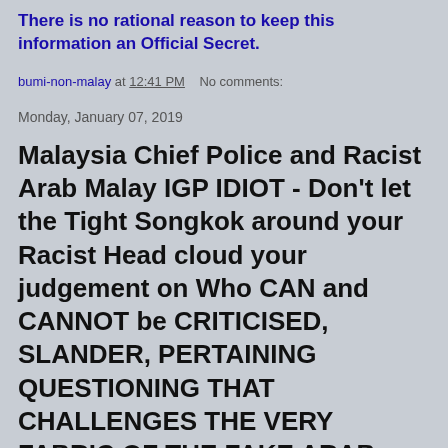There is no rational reason to keep this information an Official Secret.
bumi-non-malay at 12:41 PM   No comments:
Monday, January 07, 2019
Malaysia Chief Police and Racist Arab Malay IGP IDIOT - Don't let the Tight Songkok around your Racist Head cloud your judgement on Who CAN and CANNOT be CRITICISED, SLANDER, PERTAINING QUESTIONING THAT CHALLENGES THE VERY FABRIC OF THE FAKE ARAB MALAY UMNO-PAS Installed Illegal Sultan-agong and Govenor!! WHY Have you NOT